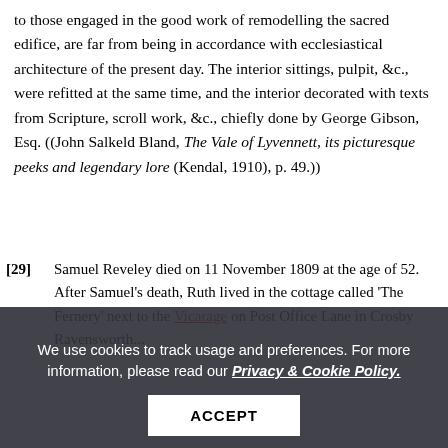to those engaged in the good work of remodelling the sacred edifice, are far from being in accordance with ecclesiastical architecture of the present day. The interior sittings, pulpit, &c., were refitted at the same time, and the interior decorated with texts from Scripture, scroll work, &c., chiefly done by George Gibson, Esq. ((John Salkeld Bland, The Vale of Lyvennett, its picturesque peeks and legendary lore (Kendal, 1910), p. 49.))
[29] Samuel Reveley died on 11 November 1809 at the age of 52. After Samuel's death, Ruth lived in the cottage called 'The Fernery' next to the Vicarage on Post Office Lane in Crosby Ravensworth...
We use cookies to track usage and preferences. For more information, please read our Privacy & Cookie Policy. ACCEPT